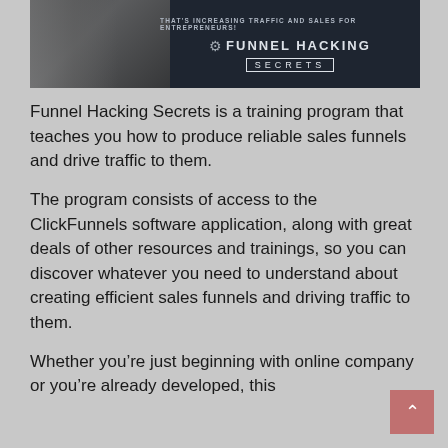[Figure (photo): Banner image for Funnel Hacking Secrets showing a person in grayscale on the left with dark background, text reading 'THAT'S INCREASING TRAFFIC AND SALES FOR ENTREPRENEURS!' and a gear icon with 'FUNNEL HACKING SECRETS' branding.]
Funnel Hacking Secrets is a training program that teaches you how to produce reliable sales funnels and drive traffic to them.
The program consists of access to the ClickFunnels software application, along with great deals of other resources and trainings, so you can discover whatever you need to understand about creating efficient sales funnels and driving traffic to them.
Whether you're just beginning with online company or you're already developed, this